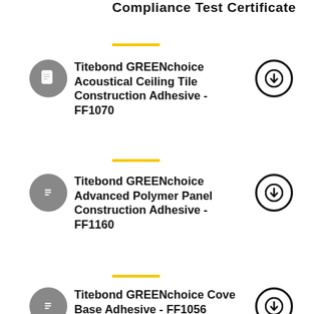Compliance Test Certificate
Titebond GREENchoice Acoustical Ceiling Tile Construction Adhesive - FF1070
Titebond GREENchoice Advanced Polymer Panel Construction Adhesive - FF1160
Titebond GREENchoice Cove Base Adhesive - FF1056